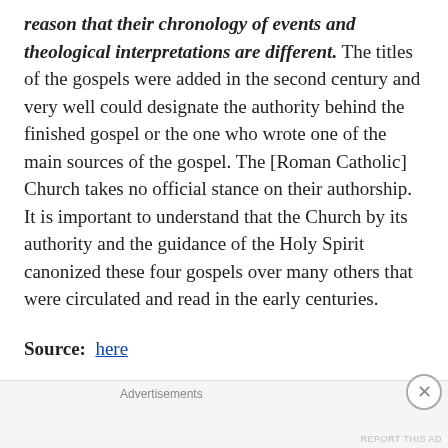reason that their chronology of events and theological interpretations are different. The titles of the gospels were added in the second century and very well could designate the authority behind the finished gospel or the one who wrote one of the main sources of the gospel. The [Roman Catholic] Church takes no official stance on their authorship. It is important to understand that the Church by its authority and the guidance of the Holy Spirit canonized these four gospels over many others that were circulated and read in the early centuries.
Source: here
Roman Catholic scholar Raymond Brown (who